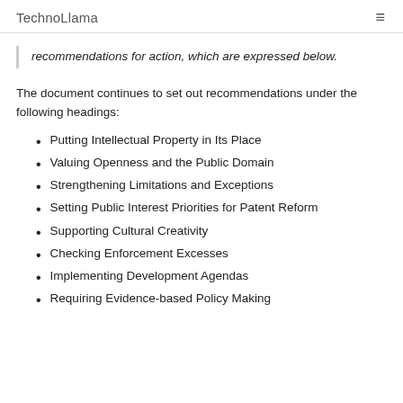TechnoLlama
recommendations for action, which are expressed below.
The document continues to set out recommendations under the following headings:
Putting Intellectual Property in Its Place
Valuing Openness and the Public Domain
Strengthening Limitations and Exceptions
Setting Public Interest Priorities for Patent Reform
Supporting Cultural Creativity
Checking Enforcement Excesses
Implementing Development Agendas
Requiring Evidence-based Policy Making